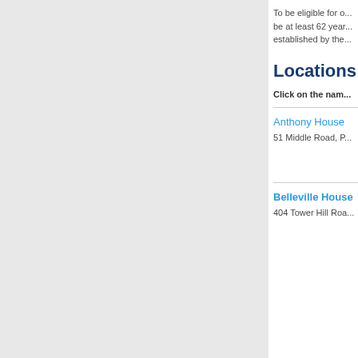To be eligible for o... be at least 62 yea... established by the...
Locations
Click on the nam...
Anthony House
51 Middle Road, P...
Belleville House
404 Tower Hill Roa...